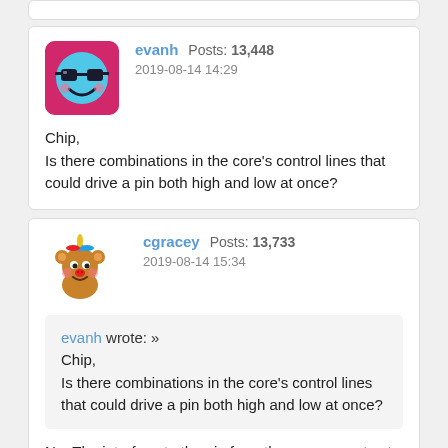evanh  Posts: 13,448  2019-08-14 14:29
Chip,
Is there combinations in the core's control lines that could drive a pin both high and low at once?
cgracey  Posts: 13,733  2019-08-14 15:34
evanh wrote: »
Chip,
Is there combinations in the core's control lines that could drive a pin both high and low at once?
No. The interface to the pin from the core cannot set up